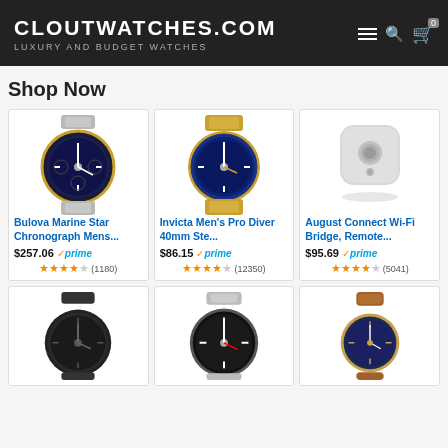CLOUTWATCHES.COM — LUXURY AND BUDGET WATCHES
Shop Now
[Figure (photo): Bulova Marine Star Chronograph watch with blue dial and two-tone bracelet]
Bulova Marine Star Chronograph Mens...
$257.06 ✓prime
★★★★☆ (1180)
[Figure (photo): Invicta Men's Pro Diver 40mm watch with blue bezel and two-tone bracelet]
Invicta Men's Pro Diver 40mm Ste...
$86.15 ✓prime
★★★★☆ (12350)
[Figure (photo): August Connect Wi-Fi Bridge smart home device, white square device]
August Connect Wi-Fi Bridge, Remote...
$95.69 ✓prime
★★★★☆ (5041)
[Figure (photo): Black men's watch with black dial and bracelet]
[Figure (photo): Silver dive watch with black dial and steel bracelet]
[Figure (photo): Women's watch with brown leather strap and navy blue dial]